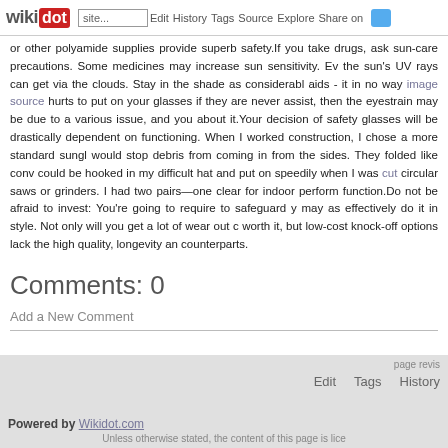wikidot | Edit | History | Tags | Source | Explore | Share on
or other polyamide supplies provide superb safety.If you take drugs, ask sun-care precautions. Some medicines may increase sun sensitivity. Ev the sun's UV rays can get via the clouds. Stay in the shade as considerabl aids - it in no way image source hurts to put on your glasses if they are never assist, then the eyestrain may be due to a various issue, and you about it.Your decision of safety glasses will be drastically dependent on functioning. When I worked construction, I chose a more standard sungl would stop debris from coming in from the sides. They folded like conv could be hooked in my difficult hat and put on speedily when I was cut circular saws or grinders. I had two pairs—one clear for indoor perform function.Do not be afraid to invest: You're going to require to safeguard y may as effectively do it in style. Not only will you get a lot of wear out c worth it, but low-cost knock-off options lack the high quality, longevity an counterparts.
Comments: 0
Add a New Comment
page revis
Edit   Tags   History
Powered by Wikidot.com
Unless otherwise stated, the content of this page is lice